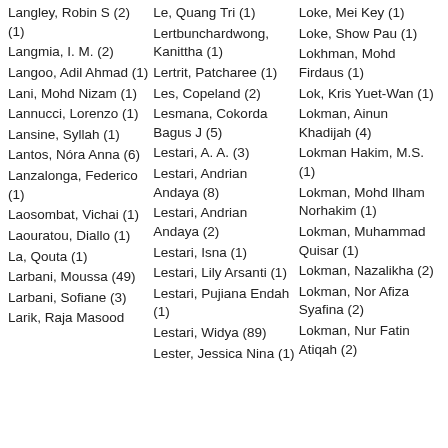Langley, Robin S (2) (1)
Langmia, I. M. (2)
Langoo, Adil Ahmad (1)
Lani, Mohd Nizam (1)
Lannucci, Lorenzo (1)
Lansine, Syllah (1)
Lantos, Nóra Anna (6)
Lanzalonga, Federico (1)
Laosombat, Vichai (1)
Laouratou, Diallo (1)
La, Qouta (1)
Larbani, Moussa (49)
Larbani, Sofiane (3)
Larik, Raja Masood
Le, Quang Tri (1)
Lertbunchardwong, Kanittha (1)
Lertrit, Patcharee (1)
Les, Copeland (2)
Lesmana, Cokorda Bagus J (5)
Lestari, A. A. (3)
Lestari, Andrian Andaya (8)
Lestari, Andrian Andaya (2)
Lestari, Isna (1)
Lestari, Lily Arsanti (1)
Lestari, Pujiana Endah (1)
Lestari, Widya (89)
Lester, Jessica Nina (1)
Loke, Mei Key (1)
Loke, Show Pau (1)
Lokhman, Mohd Firdaus (1)
Lok, Kris Yuet-Wan (1)
Lokman, Ainun Khadijah (4)
Lokman Hakim, M.S. (1)
Lokman, Mohd Ilham Norhakim (1)
Lokman, Muhammad Quisar (1)
Lokman, Nazalikha (2)
Lokman, Nor Afiza Syafina (2)
Lokman, Nur Fatin Atiqah (2)